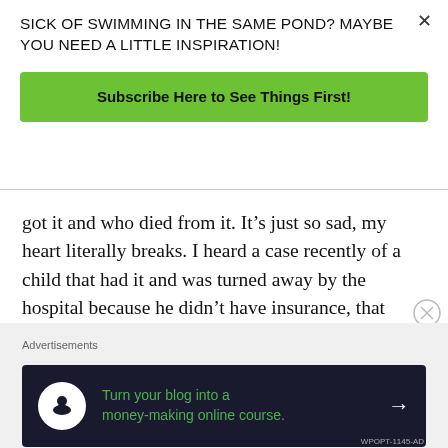SICK OF SWIMMING IN THE SAME POND? MAYBE YOU NEED A LITTLE INSPIRATION!
Subscribe Here to See Things First!
got it and who died from it. It’s just so sad, my heart literally breaks. I heard a case recently of a child that had it and was turned away by the hospital because he didn’t have insurance, that child later died. See, that’s the reason why I stopped looking at the news and it’s not only that but my heart breaks for all the doctors, nurses, staff and essential workers who are still
Advertisements
[Figure (other): Advertisement banner: dark navy background with white circle icon (tree/person silhouette), green text reading 'Turn your blog into a money-making online course.' with white arrow pointing right]